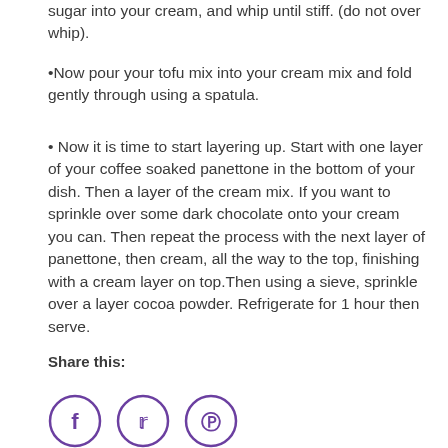sugar into your cream, and whip until stiff. (do not over whip).
Now pour your tofu mix into your cream mix and fold gently through using a spatula.
Now it is time to start layering up. Start with one layer of your coffee soaked panettone in the bottom of your dish. Then a layer of the cream mix. If you want to sprinkle over some dark chocolate onto your cream you can. Then repeat the process with the next layer of panettone, then cream, all the way to the top, finishing with a cream layer on top.Then using a sieve, sprinkle over a layer cocoa powder. Refrigerate for 1 hour then serve.
Share this:
[Figure (illustration): Three circular social media icons with purple outlines: Facebook (f), Twitter (bird), and Pinterest (p)]